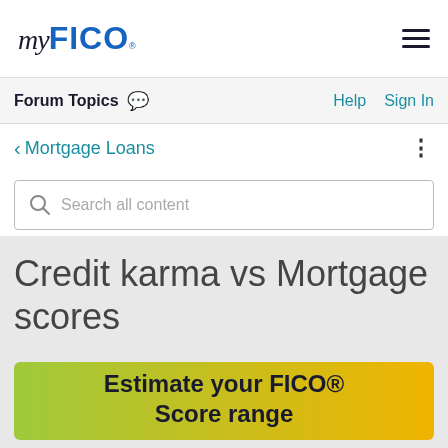myFICO
Forum Topics
Help   Sign In
< Mortgage Loans
Search all content
Credit karma vs Mortgage scores
[Figure (infographic): Yellow-green to orange gradient banner with bold text: Estimate your FICO® Score range]